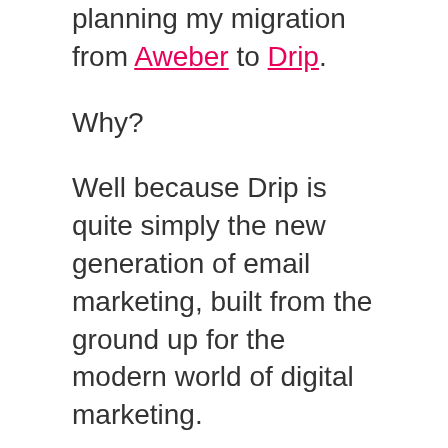planning my migration from Aweber to Drip.
Why?
Well because Drip is quite simply the new generation of email marketing, built from the ground up for the modern world of digital marketing.
This was not an easy decision as I've been using Aweber for nearly 10 years and they are still a great start point.
But my needs have outgrown them as I want to develop more sophisticated and personalized email marketing campaigns.
The migration process is going to be a huge